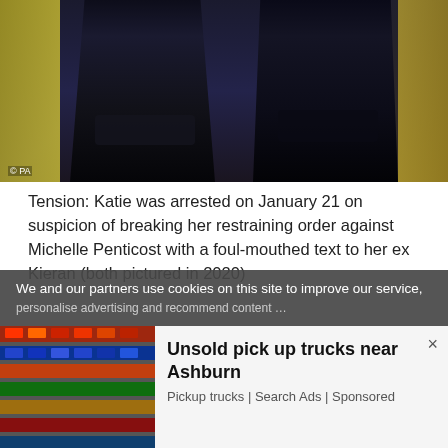[Figure (photo): Close-up photo of two people from the waist down wearing dark leather/faux-leather pants, standing in front of a colorful background with gold accents. Photo credit: © PA]
Tension: Katie was arrested on January 21 on suspicion of breaking her restraining order against Michelle Penticost with a foul-mouthed text to her ex Kieran (both pictured in 2020)
Source: Read Full Article
We and our partners use cookies on this site to improve our service,
Unsold pick up trucks near Ashburn
Pickup trucks | Search Ads | Sponsored